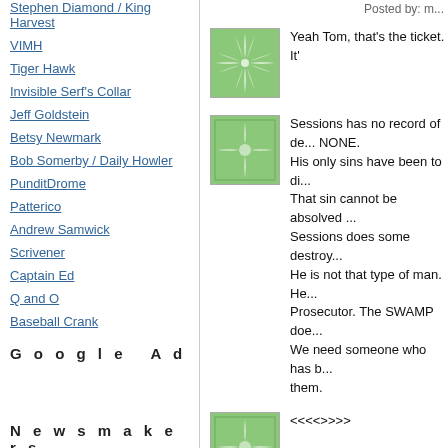Stephen Diamond / King Harvest
VIMH
Tiger Hawk
Invisible Serf's Collar
Jeff Goldstein
Betsy Newmark
Bob Somerby / Daily Howler
PunditDrome
Patterico
Andrew Samwick
Scrivener
Captain Ed
Q and O
Baseball Crank
G o o g l e   A d
N e w s m a k e r s
Posted by: m...
Yeah Tom, that's the ticket. It'
Sessions has no record of de... NONE.
His only sins have been to di...
That sin cannot be absolved ...
Sessions does some destroy...
He is not that type of man. He...
Prosecutor. The SWAMP doe...
We need someone who has b...
them.
<<<<>>>>

Friends, I rest my case.